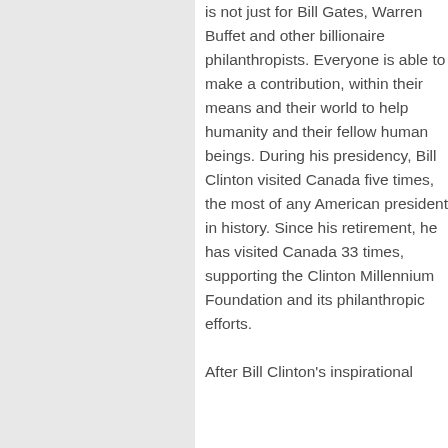is not just for Bill Gates, Warren Buffet and other billionaire philanthropists. Everyone is able to make a contribution, within their means and their world to help humanity and their fellow human beings. During his presidency, Bill Clinton visited Canada five times, the most of any American president in history. Since his retirement, he has visited Canada 33 times, supporting the Clinton Millennium Foundation and its philanthropic efforts.

After Bill Clinton's inspirational